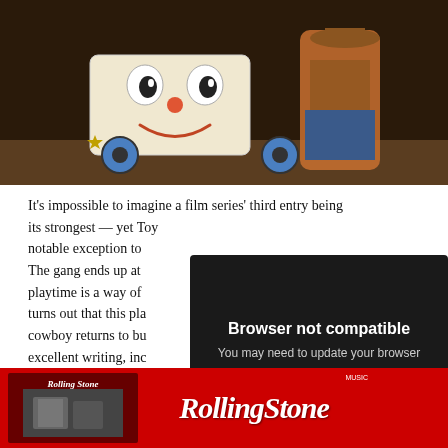[Figure (photo): Animated movie still from Toy Story showing toy characters including a clown-faced box toy and Woody the cowboy]
It’s impossible to imagine a film series’ third entry being its strongest — yet Toy [Story 3 is a] notable exception to [that rule.] The gang ends up at [a daycare where] playtime is a way of [life, but it] turns out that this pla[ce has a dark] cowboy returns to bu[ild on] excellent writing, inc[luding] House!), a storyline [that...]
[Figure (screenshot): Browser not compatible modal dialog on dark background with text: Browser not compatible, You may need to update your browser, Report ID: 1gbgse7p454sfvt6f39]
[Figure (logo): Rolling Stone magazine advertisement banner with red background and Rolling Stone logo in white italic serif text, with a smaller magazine cover image on the left]